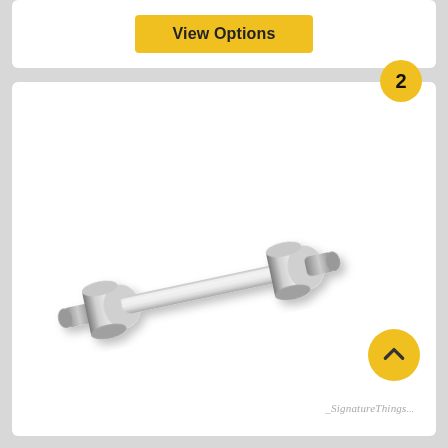[Figure (other): Yellow 'View Options' button on white card background]
[Figure (photo): Stainless steel bar cabinet pull handle with cylindrical posts on each end, shown at a diagonal angle on white background. Number badge '2' in yellow circle at top right. Yellow up-arrow chevron badge at bottom right. SignatureThings.com watermark at bottom.]